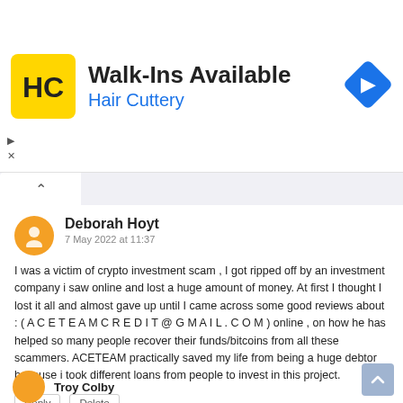[Figure (infographic): Advertisement banner for Hair Cuttery with yellow logo, 'Walk-Ins Available' heading, blue 'Hair Cuttery' subtitle, and a blue navigation diamond icon on the right]
Deborah Hoyt
7 May 2022 at 11:37
I was a victim of crypto investment scam , I got ripped off by an investment company i saw online and lost a huge amount of money. At first I thought I lost it all and almost gave up until I came across some good reviews about : ( A C E T E A M C R E D I T @ G M A I L . C O M ) online , on how he has helped so many people recover their funds/bitcoins from all these scammers. ACETEAM practically saved my life from being a huge debtor because i took different loans from people to invest in this project.
Reply   Delete
Troy Colby